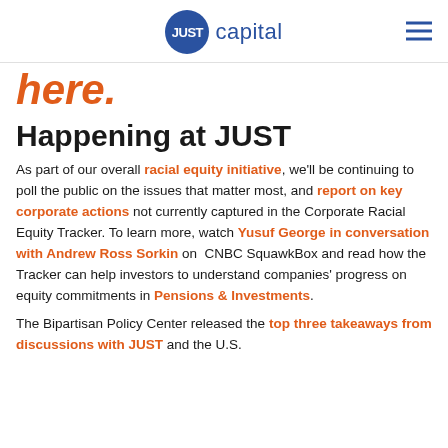JUST capital
here.
Happening at JUST
As part of our overall racial equity initiative, we'll be continuing to poll the public on the issues that matter most, and report on key corporate actions not currently captured in the Corporate Racial Equity Tracker. To learn more, watch Yusuf George in conversation with Andrew Ross Sorkin on CNBC SquawkBox and read how the Tracker can help investors to understand companies' progress on equity commitments in Pensions & Investments.
The Bipartisan Policy Center released the top three takeaways from discussions with JUST and the U.S.